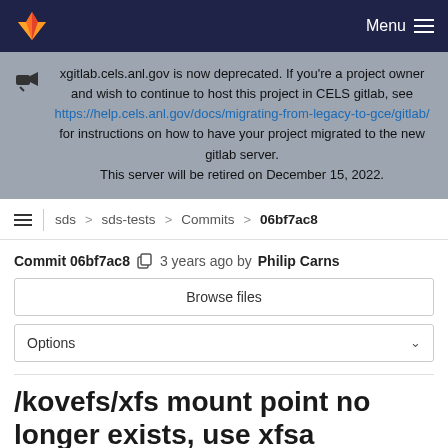Menu
xgitlab.cels.anl.gov is now deprecated. If you're a project owner and wish to continue to host this project in CELS gitlab, see https://help.cels.anl.gov/docs/migrating-from-legacy-to-gce/gitlab/ for instructions on how to have your project migrated to the new gitlab server. This server will be retired on December 15, 2022.
sds > sds-tests > Commits > 06bf7ac8
Commit 06bf7ac8  3 years ago by Philip Carns
Browse files
Options
/kovefs/xfs mount point no longer exists, use xfsa